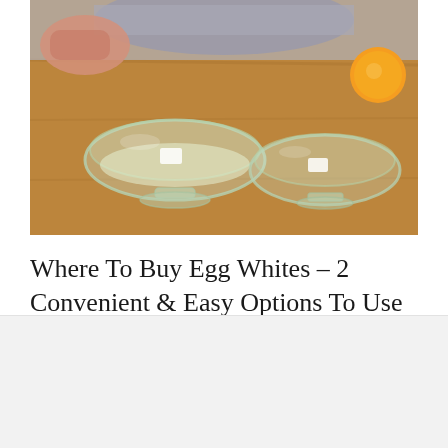[Figure (photo): Photo of egg whites being separated into glass bowls on a wooden surface, with an egg yolk visible on the right side]
Where To Buy Egg Whites – 2 Convenient & Easy Options To Use